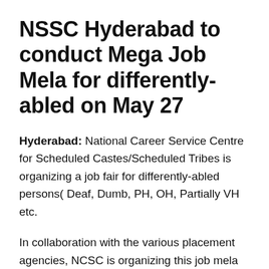NSSC Hyderabad to conduct Mega Job Mela for differently-abled on May 27
Hyderabad: National Career Service Centre for Scheduled Castes/Scheduled Tribes is organizing a job fair for differently-abled persons( Deaf, Dumb, PH, OH, Partially VH etc.
In collaboration with the various placement agencies, NCSC is organizing this job mela at its National Skill Training Institute Campus, Shivam Road, Vidya Nagar on 27th May 2022